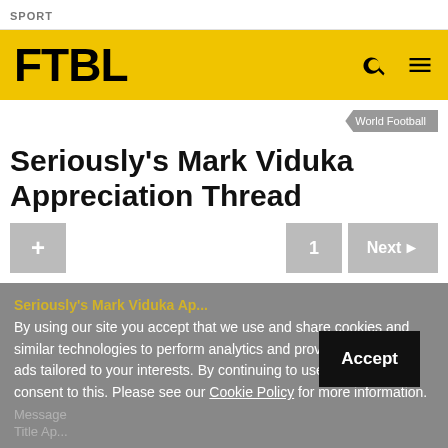SPORT
FTBL
World Football
Seriously's Mark Viduka Appreciation Thread
+ | 1 | Next ▶
By using our site you accept that we use and share cookies and similar technologies to perform analytics and provide content and ads tailored to your interests. By continuing to use our site, you consent to this. Please see our Cookie Policy for more information.